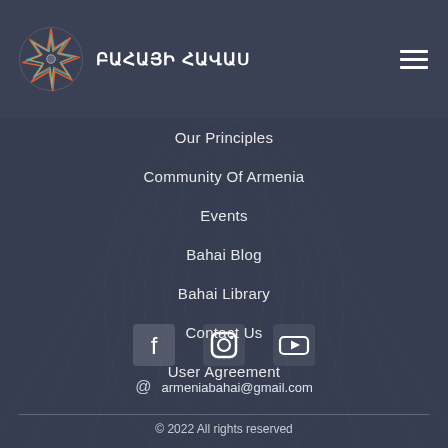ԲԱՀԱՅԻ ՀԱՎԱՍ
Our Principles
Community Of Armenia
Events
Bahai Blog
Bahai Library
Contact Us
User Agreement
[Figure (infographic): Social media icons row: Facebook, Instagram, YouTube]
armeniabahai@gmail.com
© 2022 All rights reserved